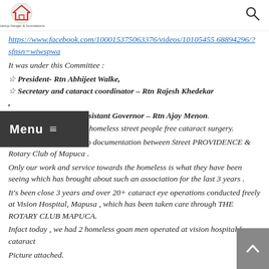startup hanger & foundations
https://www.facebook.com/100015375063376/videos/10105455 68894296/?sfnsn=wiwspwa
It was under this Committee :
☆ President- Rtn Abhijeet Walke,
☆ Secretary and cataract coordinator – Rtn Rajesh Khedekar ,
☆ Past president and assistant Governor – Rtn Ajay Menon.
managed to get so many homeless street people free cataract surgery.
No written agreement, no documentation between Street PROVIDENCE & Rotary Club of Mapuca .
Only our work and service towards the homeless is what they have been seeing which has brought about such an association for the last 3 years .
It's been close 3 years and over 20+ cataract eye operations conducted freely at Vision Hospital, Mapusa , which has been taken care through THE ROTARY CLUB MAPUCA.
Infact today , we had 2 homeless goan men operated at vision hospital for cataract
Picture attached.